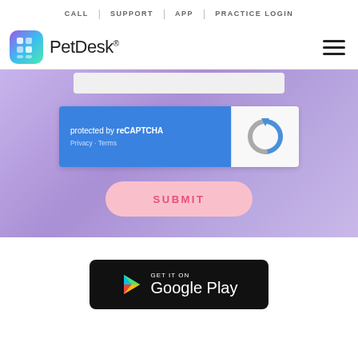CALL | SUPPORT | APP | PRACTICE LOGIN
[Figure (logo): PetDesk logo with colorful grid icon and PetDesk® wordmark, hamburger menu icon on right]
[Figure (screenshot): Purple gradient section with input bar at top, reCAPTCHA widget (protected by reCAPTCHA, Privacy - Terms), and SUBMIT button]
[Figure (logo): Get it on Google Play badge on black rounded rectangle background]